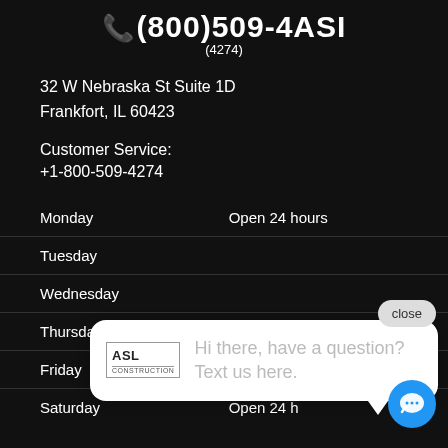(800)509-4ASI (4274)
32 W Nebraska St Suite 1D
Frankfort, IL 60423
Customer Service:
+1-800-509-4274
| Day | Hours |
| --- | --- |
| Monday | Open 24 hours |
| Tuesday |  |
| Wednesday |  |
| Thursday | Open 24 hours |
| Friday | Open 24 hours |
| Saturday | Open 24 hours |
[Figure (screenshot): Chat popup bubble with ASL Construction logo and text: Hi there, have a question? Text us here.]
close
[Figure (illustration): Blue circular chat/message button icon in bottom right corner]